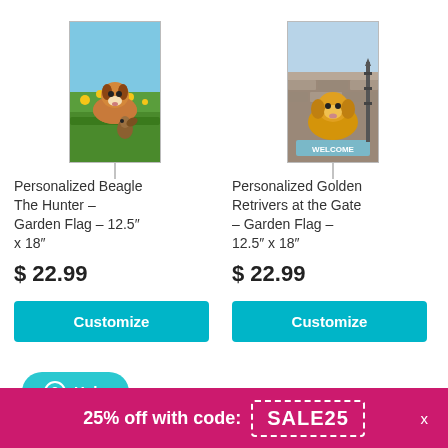[Figure (photo): Personalized Beagle The Hunter garden flag illustration — beagle dog with squirrel in grassy flower field setting]
[Figure (photo): Personalized Golden Retrievers at the Gate garden flag illustration — golden retriever dog sitting by stone gate with WELCOME text]
Personalized Beagle The Hunter – Garden Flag – 12.5" x 18"
Personalized Golden Retrivers at the Gate – Garden Flag – 12.5" x 18"
$ 22.99
$ 22.99
Customize
Customize
Help
25% off with code: SALE25